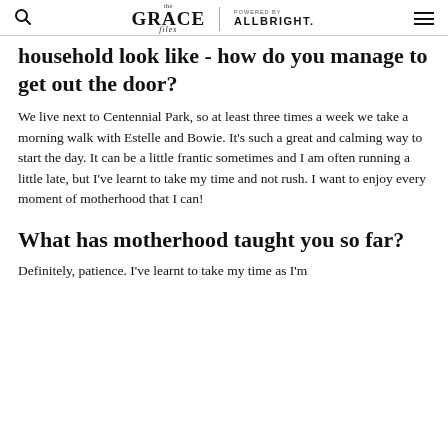The Grace Files | Powered by ALLBRIGHT.
household look like - how do you manage to get out the door?
We live next to Centennial Park, so at least three times a week we take a morning walk with Estelle and Bowie. It's such a great and calming way to start the day. It can be a little frantic sometimes and I am often running a little late, but I've learnt to take my time and not rush. I want to enjoy every moment of motherhood that I can!
What has motherhood taught you so far?
Definitely, patience. I've learnt to take my time as I'm